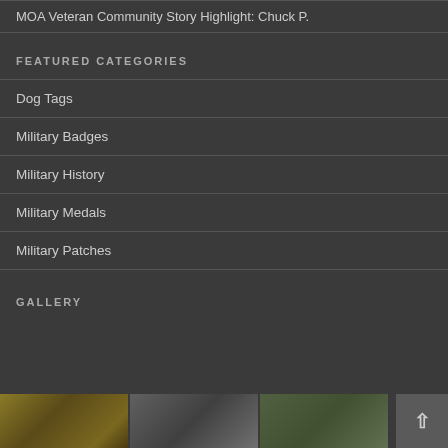MOA Veteran Community Story Highlight: Chuck P.
FEATURED CATEGORIES
Dog Tags
Military Badges
Military History
Military Medals
Military Patches
GALLERY
[Figure (photo): Three small gallery thumbnail images at the bottom of the page — left shows military items/dog tags, center shows a person, right shows a person outdoors in green surroundings.]